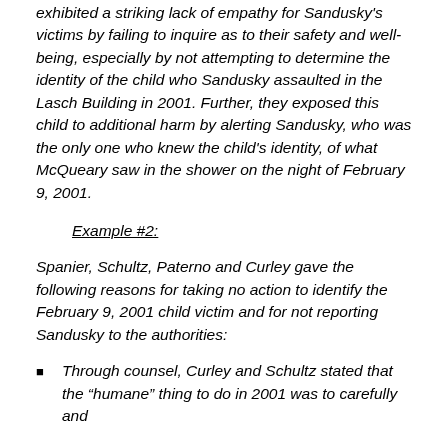exhibited a striking lack of empathy for Sandusky's victims by failing to inquire as to their safety and well-being, especially by not attempting to determine the identity of the child who Sandusky assaulted in the Lasch Building in 2001. Further, they exposed this child to additional harm by alerting Sandusky, who was the only one who knew the child's identity, of what McQueary saw in the shower on the night of February 9, 2001.
Example #2:
Spanier, Schultz, Paterno and Curley gave the following reasons for taking no action to identify the February 9, 2001 child victim and for not reporting Sandusky to the authorities:
Through counsel, Curley and Schultz stated that the “humane” thing to do in 2001 was to carefully and